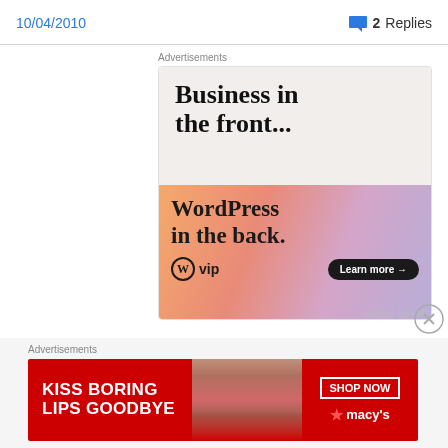10/04/2010   💬 2 Replies
[Figure (screenshot): WordPress VIP advertisement: 'Business in the front... WordPress in the back.' with Learn more button]
Advertisements
[Figure (screenshot): Macy's advertisement: 'KISS BORING LIPS GOODBYE' with SHOP NOW button and Macy's logo]
Advertisements